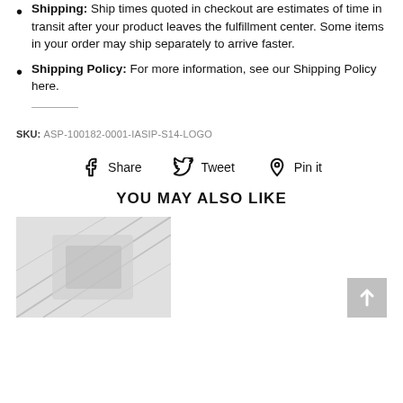Shipping: Ship times quoted in checkout are estimates of time in transit after your product leaves the fulfillment center. Some items in your order may ship separately to arrive faster.
Shipping Policy: For more information, see our Shipping Policy here.
SKU: ASP-100182-0001-IASIP-S14-LOGO
Share  Tweet  Pin it
YOU MAY ALSO LIKE
[Figure (photo): Product thumbnail image placeholder with diagonal stripe pattern]